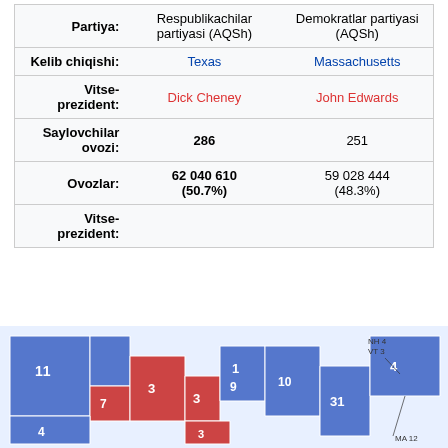|  | Respublikachilar partiyasi (AQSh) | Demokratlar partiyasi (AQSh) |
| --- | --- | --- |
| Partiya: | Respublikachilar partiyasi (AQSh) | Demokratlar partiyasi (AQSh) |
| Kelib chiqishi: | Texas | Massachusetts |
| Vitse-prezident: | Dick Cheney | John Edwards |
| Saylovchilar ovozi: | 286 | 251 |
| Ovozlar: | 62 040 610 (50.7%) | 59 028 444 (48.3%) |
| Vitse-prezident: |  |  |
[Figure (map): US electoral map showing Republican (red) and Democratic (blue) states with electoral vote numbers. NH 4, VT 3, MA 12, and other state labels visible. Numbers shown: 11, 3, 3, 1, 9, 10, 7, 4, 3, 31, 4]